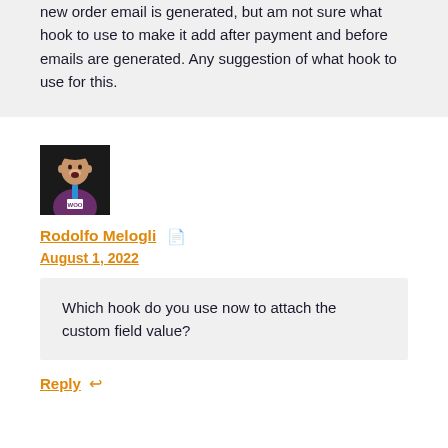new order email is generated, but am not sure what hook to use to make it add after payment and before emails are generated. Any suggestion of what hook to use for this.
[Figure (photo): Profile photo of Rodolfo Melogli wearing a purple shirt with a WooCommerce lanyard, dark background]
Rodolfo Melogli
August 1, 2022
Which hook do you use now to attach the custom field value?
Reply